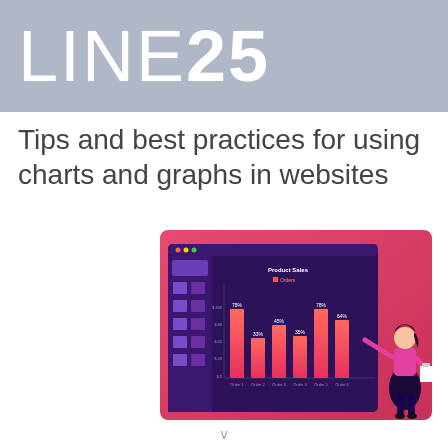LINE25
Tips and best practices for using charts and graphs in websites
[Figure (illustration): Dashboard analytics illustration with a bar chart showing Product Sales / Orders data (six bars labeled Order 1 through Order 6 with percentage labels), a sidebar with icons, and a stylized woman pointing at the screen, all on a purple/pink gradient background]
∨